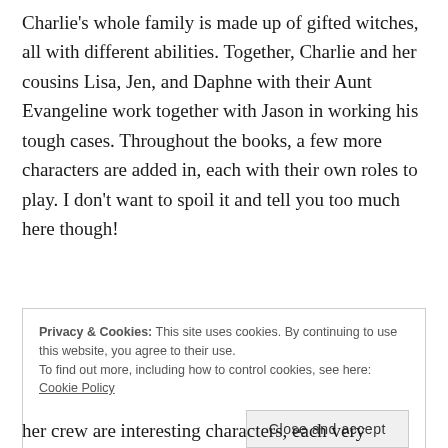Charlie's whole family is made up of gifted witches, all with different abilities. Together, Charlie and her cousins Lisa, Jen, and Daphne with their Aunt Evangeline work together with Jason in working his tough cases. Throughout the books, a few more characters are added in, each with their own roles to play. I don't want to spoil it and tell you too much here though!
Privacy & Cookies: This site uses cookies. By continuing to use this website, you agree to their use. To find out more, including how to control cookies, see here: Cookie Policy
her crew are interesting characters, each very different